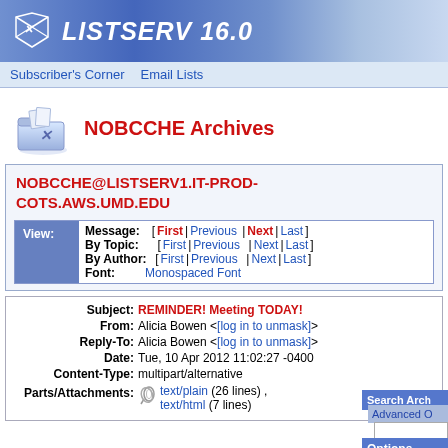LISTSERV 16.0
Subscriber's Corner   Email Lists
NOBCCHE Archives
NOBCCHE@LISTSERV1.IT-PROD-COTS.AWS.UMD.EDU
| View: | Navigation |
| --- | --- |
| Message: | [ First | Previous | Next | Last ] |
| By Topic: | [ First | Previous | Next | Last ] |
| By Author: | [ First | Previous | Next | Last ] |
| Font: | Monospaced Font |
| Field | Value |
| --- | --- |
| Subject: | REMINDER! Meeting TODAY! |
| From: | Alicia Bowen <[log in to unmask]> |
| Reply-To: | Alicia Bowen <[log in to unmask]> |
| Date: | Tue, 10 Apr 2012 11:02:27 -0400 |
| Content-Type: | multipart/alternative |
| Parts/Attachments: | text/plain (26 lines) , text/html (7 lines) |